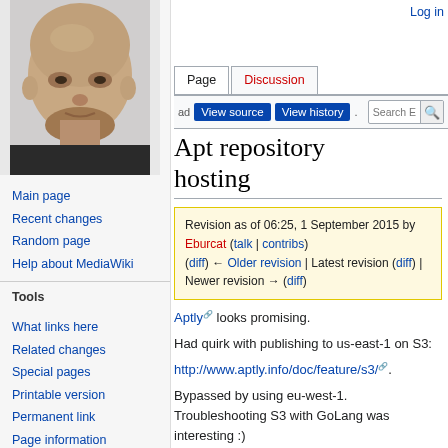[Figure (photo): Headshot photo of a bald man in a dark shirt, close-up face shot against white background]
Log in
Page | Discussion
View source | View history | Search
Apt repository hosting
Revision as of 06:25, 1 September 2015 by Eburcat (talk | contribs) (diff) ← Older revision | Latest revision (diff) | Newer revision → (diff)
Main page
Recent changes
Random page
Help about MediaWiki
Tools
What links here
Related changes
Special pages
Printable version
Permanent link
Page information
Aptly looks promising.
Had quirk with publishing to us-east-1 on S3:
http://www.aptly.info/doc/feature/s3/.
Bypassed by using eu-west-1. Troubleshooting S3 with GoLang was interesting :)